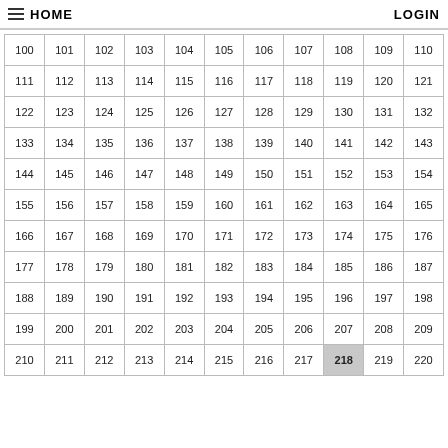HOME  LOGIN
| 100 | 101 | 102 | 103 | 104 | 105 | 106 | 107 | 108 | 109 | 110 |
| 111 | 112 | 113 | 114 | 115 | 116 | 117 | 118 | 119 | 120 | 121 |
| 122 | 123 | 124 | 125 | 126 | 127 | 128 | 129 | 130 | 131 | 132 |
| 133 | 134 | 135 | 136 | 137 | 138 | 139 | 140 | 141 | 142 | 143 |
| 144 | 145 | 146 | 147 | 148 | 149 | 150 | 151 | 152 | 153 | 154 |
| 155 | 156 | 157 | 158 | 159 | 160 | 161 | 162 | 163 | 164 | 165 |
| 166 | 167 | 168 | 169 | 170 | 171 | 172 | 173 | 174 | 175 | 176 |
| 177 | 178 | 179 | 180 | 181 | 182 | 183 | 184 | 185 | 186 | 187 |
| 188 | 189 | 190 | 191 | 192 | 193 | 194 | 195 | 196 | 197 | 198 |
| 199 | 200 | 201 | 202 | 203 | 204 | 205 | 206 | 207 | 208 | 209 |
| 210 | 211 | 212 | 213 | 214 | 215 | 216 | 217 | 218 | 219 | 220 |